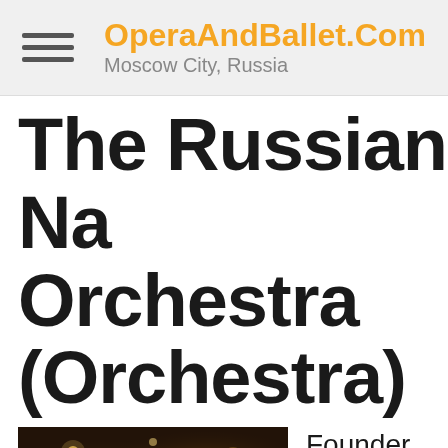OperaAndBallet.Com — Moscow City, Russia
The Russian Na Orchestra (Orchestra)
[Figure (photo): Interior of a theatre with warm golden lighting and an arched doorway]
Founder
leader